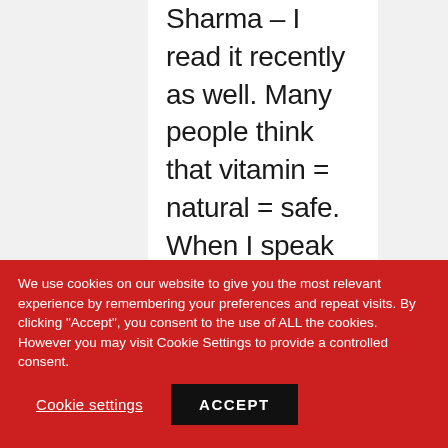Sharma – I read it recently as well. Many people think that vitamin = natural = safe. When I speak to patient groups, I almost
We use cookies on our website to give you the most relevant experience by remembering your preferences and repeat visits. By clicking "Accept", you consent to the use of ALL the cookies. However you may visit Cookie Settings to provide a controlled consent.